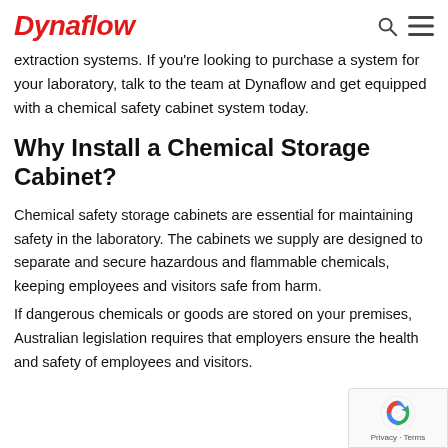Dynaflow
extraction systems. If you're looking to purchase a system for your laboratory, talk to the team at Dynaflow and get equipped with a chemical safety cabinet system today.
Why Install a Chemical Storage Cabinet?
Chemical safety storage cabinets are essential for maintaining safety in the laboratory. The cabinets we supply are designed to separate and secure hazardous and flammable chemicals, keeping employees and visitors safe from harm.
If dangerous chemicals or goods are stored on your premises, Australian legislation requires that employers ensure the health and safety of employees and visitors.